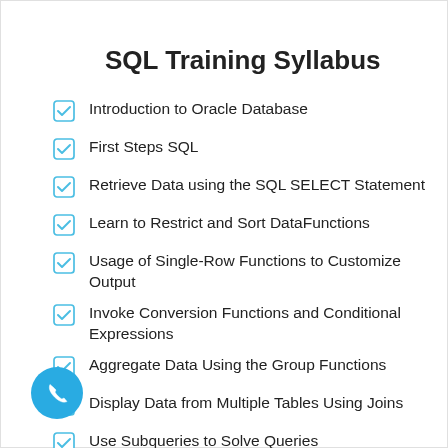SQL Training Syllabus
Introduction to Oracle Database
First Steps SQL
Retrieve Data using the SQL SELECT Statement
Learn to Restrict and Sort DataFunctions
Usage of Single-Row Functions to Customize Output
Invoke Conversion Functions and Conditional Expressions
Aggregate Data Using the Group Functions
Display Data from Multiple Tables Using Joins
Use Subqueries to Solve Queries
Use Correlated Sub-queries to Solve Queries
The SET Operators